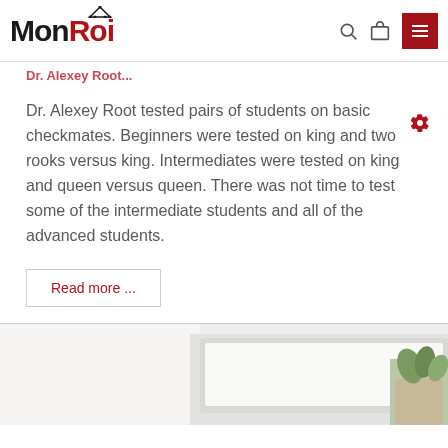MonRoi
Dr. Alexey Root...
Dr. Alexey Root tested pairs of students on basic checkmates. Beginners were tested on king and two rooks versus king. Intermediates were tested on king and queen versus queen. There was not time to test some of the intermediate students and all of the advanced students.
Read more ...
[Figure (photo): Partial view of a laptop or tablet on a desk with a small plant, bottom section of the page]